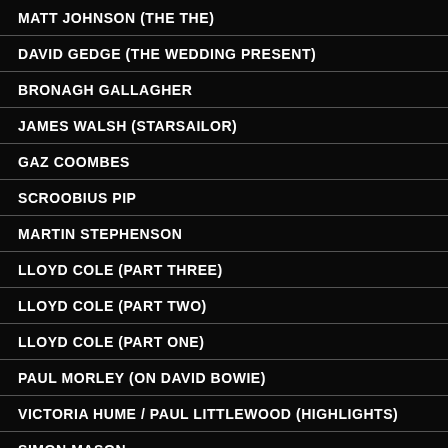MATT JOHNSON (THE THE)
DAVID GEDGE (THE WEDDING PRESENT)
BRONAGH GALLAGHER
JAMES WALSH (STARSAILOR)
GAZ COOMBES
SCROOBIUS PIP
MARTIN STEPHENSON
LLOYD COLE (PART THREE)
LLOYD COLE (PART TWO)
LLOYD COLE (PART ONE)
PAUL MORLEY (ON DAVID BOWIE)
VICTORIA HUME / PAUL LITTLEWOOD (HIGHLIGHTS)
SIMON MASON